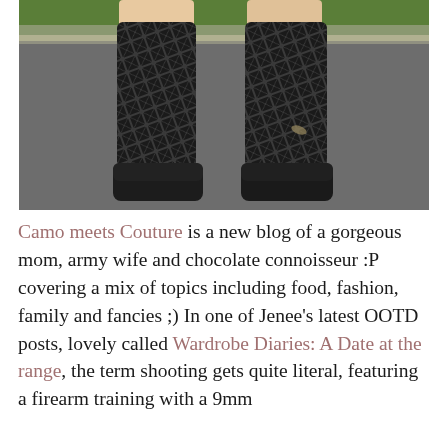[Figure (photo): Close-up photo of a person's legs wearing black patterned knee-high socks with a zigzag/diamond design and black loafer shoes, walking on a gray asphalt road with green grass and a curb visible in the background.]
Camo meets Couture is a new blog of a gorgeous mom, army wife and chocolate connoisseur :P covering a mix of topics including food, fashion, family and fancies ;) In one of Jenee's latest OOTD posts, lovely called Wardrobe Diaries: A Date at the range, the term shooting gets quite literal, featuring a firearm training with a 9mm Springfield XDM. So romantic ;) You can hire...